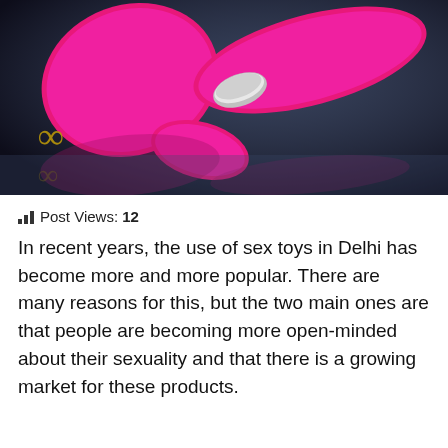[Figure (photo): Pink silicone adult toy device with silver accent band, positioned on a reflective dark surface alongside gold infinity symbol jewelry pieces. The objects are reflected in the glossy surface below.]
Post Views: 12
In recent years, the use of sex toys in Delhi has become more and more popular. There are many reasons for this, but the two main ones are that people are becoming more open-minded about their sexuality and that there is a growing market for these products.